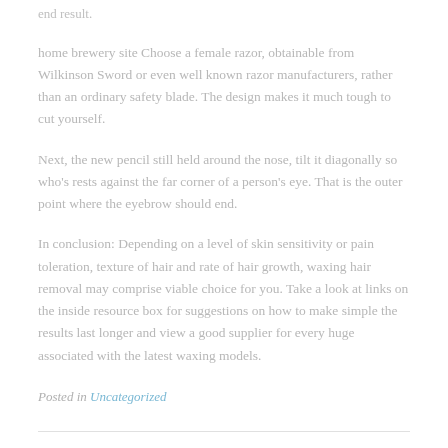end result.
home brewery site Choose a female razor, obtainable from Wilkinson Sword or even well known razor manufacturers, rather than an ordinary safety blade. The design makes it much tough to cut yourself.
Next, the new pencil still held around the nose, tilt it diagonally so who's rests against the far corner of a person's eye. That is the outer point where the eyebrow should end.
In conclusion: Depending on a level of skin sensitivity or pain toleration, texture of hair and rate of hair growth, waxing hair removal may comprise viable choice for you. Take a look at links on the inside resource box for suggestions on how to make simple the results last longer and view a good supplier for every huge associated with the latest waxing models.
Posted in Uncategorized